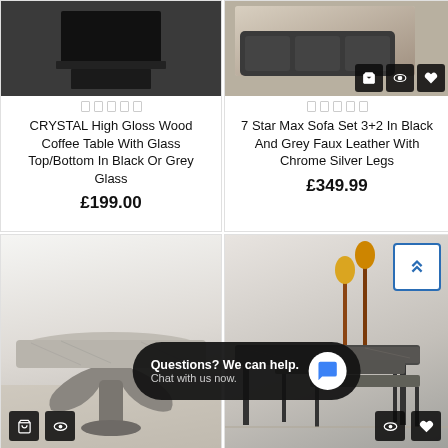[Figure (photo): Product photo top portion of CRYSTAL High Gloss Wood Coffee Table, dark background]
CRYSTAL High Gloss Wood Coffee Table With Glass Top/Bottom In Black Or Grey Glass
£199.00
[Figure (photo): Product photo of 7 Star Max Sofa Set 3+2 in Black and Grey Faux Leather with Chrome Silver Legs, with shopping bag, eye, and heart icons overlay]
7 Star Max Sofa Set 3+2 In Black And Grey Faux Leather With Chrome Silver Legs
£349.99
[Figure (photo): Marble-look coffee table with sculptural bull-horn style base, on wooden floor]
[Figure (photo): Nesting tables set with marble top and black metal legs, with candle decor, scroll-to-top button visible]
Questions? We can help. Chat with us now.